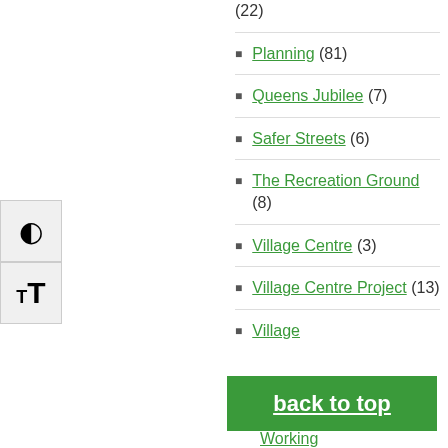(22)
Planning (81)
Queens Jubilee (7)
Safer Streets (6)
The Recreation Ground (8)
Village Centre (3)
Village Centre Project (13)
Village
back to top
Working